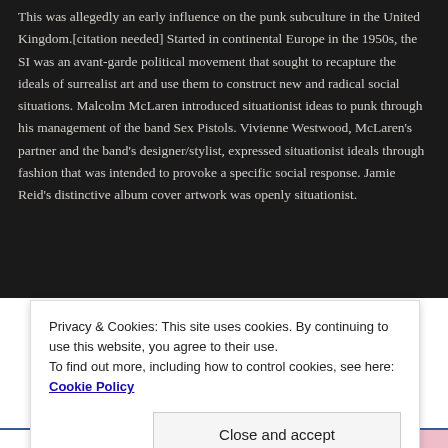The Situationist International
This was allegedly an early influence on the punk subculture in the United Kingdom.[citation needed] Started in continental Europe in the 1950s, the SI was an avant-garde political movement that sought to recapture the ideals of surrealist art and use them to construct new and radical social situations. Malcolm McLaren introduced situationist ideas to punk through his management of the band Sex Pistols. Vivienne Westwood, McLaren's partner and the band's designer/stylist, expressed situationist ideals through fashion that was intended to provoke a specific social response. Jamie Reid's distinctive album cover artwork was openly situationist.
Privacy & Cookies: This site uses cookies. By continuing to use this website, you agree to their use.
To find out more, including how to control cookies, see here: Cookie Policy